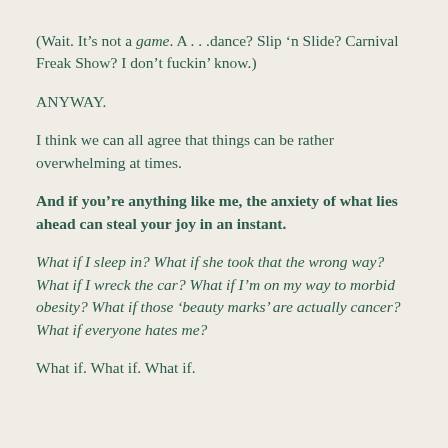(Wait. It’s not a game. A . . .dance? Slip ‘n Slide? Carnival Freak Show? I don’t fuckin’ know.)
ANYWAY.
I think we can all agree that things can be rather overwhelming at times.
And if you’re anything like me, the anxiety of what lies ahead can steal your joy in an instant.
What if I sleep in? What if she took that the wrong way? What if I wreck the car? What if I’m on my way to morbid obesity? What if those ‘beauty marks’ are actually cancer? What if everyone hates me?
What if. What if. What if.